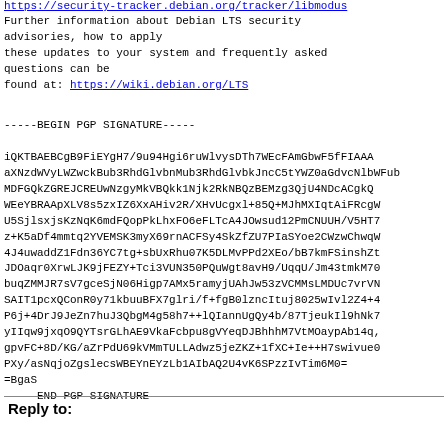https://security-tracker.debian.org/tracker/libmodus (link truncated)
Further information about Debian LTS security advisories, how to apply these updates to your system and frequently asked questions can be found at: https://wiki.debian.org/LTS
-----BEGIN PGP SIGNATURE-----

iQKTBAEBCgB9FiEYgH7/9u94Hgi6ruWlvysDTh7WEcFAmGbwF5fFIAAA...
aXNzdWVyLWZwckBub3RhdGlvbnMub3RhdGlvbkJncC5tYWZ0aGdvcNlbWFub...
MDFGQkZGREJCREUwNzgyMkVBQkI5Njk2RkNBQzBEMzg3QjU4NDcACgkQ...
WEeYBRAApXLV8s5zxIZ6XxAHiv2R/XHvUcgxl+85Q+MJhMXIqtAiFRcgw...
U5SjlsxjsKzNqK6mdFQopPkLhxFO6eFLTcA4JOwsud12PmCNUUH/V5HT...
z+K5aDf4mmtq2YVEMSK3myX69rnACFSy4SkZfZU7PIaSYoe2CWzwChwqu...
4J4uwaddZ1Fdn36YC7tg+sbUxRhu07K5DLMvPPd2XEo/bB7kmFSinshZt...
JDOaqr0XrwLJK9jFEZY+Tci3VUN350PQuWgt8avH9/UqqU/Jm43tmkM70...
buqZMMJR7sV7gceSjN06Higp7AMx5ramyjUAhJw53zVCMMsLMDUc7vrVN...
SAIT1pcxQConR0y71kbuuBFX7glri/f+fgB0lzncItuj8025wIvl2Z4+4...
P6j+4DrJ9JeZn7huJ3QbgM4g58h7++lQIannUgQy4b/87TjeukIl9hNk7...
yIIqw9jxqO9QYTsrGLhAE9VkaFcbpu8gVYeqDJBhhhM7VtMOaypAb14q...
gpvFC+8D/KG/aZrPdU69kVMmTULLAdwz5jeZKZ+1fXC+Ie++H7swivue0...
PXy/asNqjoZgslecsWBEYnEYzLb1AIbAQ2U4vK6SPzzIvTim6M0=
=BgaS
-----END PGP SIGNATURE-----
Reply to: